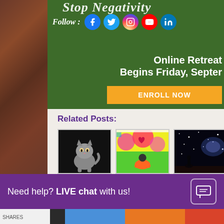[Figure (screenshot): Green promotional banner with social media icons (Facebook, Twitter, Instagram, YouTube, LinkedIn) and text 'Follow:', 'Online Retreat Begins Friday, September' with orange 'ENROLL NOW' button]
Related Posts:
[Figure (photo): Small grey kitten on black background]
Anger As Passive
[Figure (illustration): Colorful pop-art illustration of a person sitting cross-legged with hearts and colorful background]
Escape From
[Figure (photo): Dark space/night sky photo with stars and silhouette]
Unlimited
Need help? LIVE chat with us!
SHARES